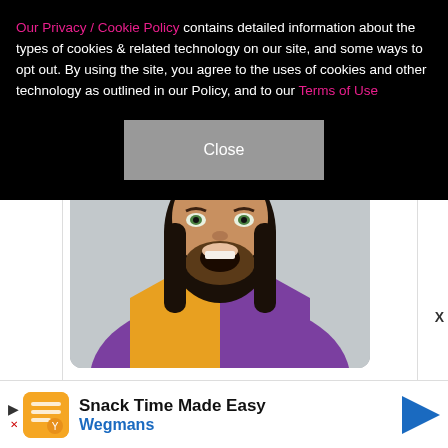Our Privacy / Cookie Policy contains detailed information about the types of cookies & related technology on our site, and some ways to opt out. By using the site, you agree to the uses of cookies and other technology as outlined in our Policy, and to our Terms of Use
Close
Episode 1: Let's do this @Netflix #JaredLetoCinemaClub
[Figure (photo): A man with long dark hair wearing a straw cowboy hat and a colorful purple and yellow patterned shirt, with mouth open in an excited expression, photographed against a light grey background.]
Snack Time Made Easy
Wegmans